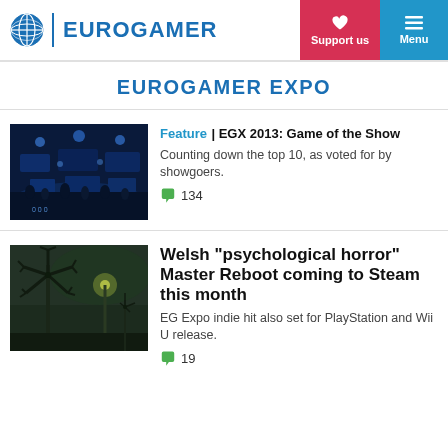EUROGAMER — Support us | Menu
EUROGAMER EXPO
[Figure (photo): Aerial view of a crowded gaming expo hall with blue lighting]
Feature | EGX 2013: Game of the Show
Counting down the top 10, as voted for by showgoers.
💬 134
[Figure (photo): Dark atmospheric scene with a windmill silhouette and green tones]
Welsh "psychological horror" Master Reboot coming to Steam this month
EG Expo indie hit also set for PlayStation and Wii U release.
💬 19